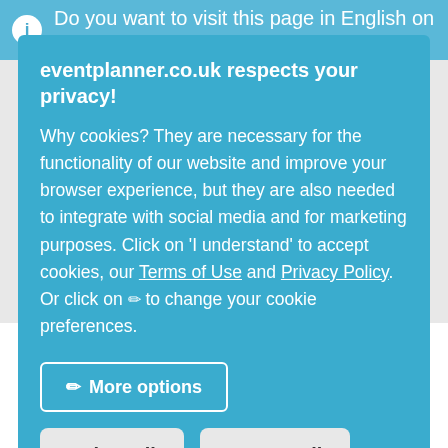Do you want to visit this page in English on our
eventplanner.co.uk respects your privacy!
Why cookies? They are necessary for the functionality of our website and improve your browser experience, but they are also needed to integrate with social media and for marketing purposes. Click on 'I understand' to accept cookies, our Terms of Use and Privacy Policy. Or click on ✏ to change your cookie preferences.
More options
Reject all
Accept all
| Write review | Mechelen (7.2 km)
Technopolis is a unique activity center: fun and education are interwoven in an original way and everyone feels at home.